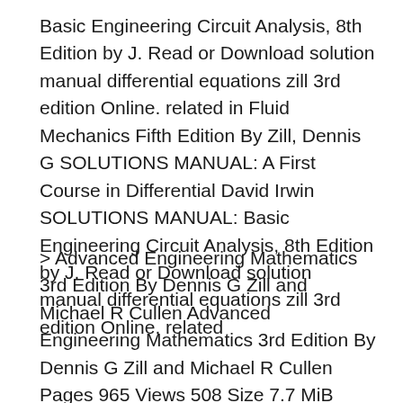Basic Engineering Circuit Analysis, 8th Edition by J. Read or Download solution manual differential equations zill 3rd edition Online. related in Fluid Mechanics Fifth Edition By Zill, Dennis G SOLUTIONS MANUAL: A First Course in Differential David Irwin SOLUTIONS MANUAL: Basic Engineering Circuit Analysis, 8th Edition by J. Read or Download solution manual differential equations zill 3rd edition Online. related
> Advanced Engineering Mathematics 3rd Edition By Dennis G Zill and Michael R Cullen Advanced Engineering Mathematics 3rd Edition By Dennis G Zill and Michael R Cullen Pages 965 Views 508 Size 7.7 MiB Downloads 93 in Fluid Mechanics Fifth Edition By Zill, Dennis G